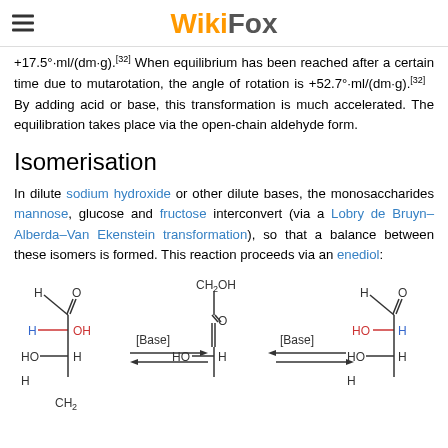WikiFox
+17.5°·ml/(dm·g).[32] When equilibrium has been reached after a certain time due to mutarotation, the angle of rotation is +52.7°·ml/(dm·g).[32]   By adding acid or base, this transformation is much accelerated. The equilibration takes place via the open-chain aldehyde form.
Isomerisation
In dilute sodium hydroxide or other dilute bases, the monosaccharides mannose, glucose and fructose interconvert (via a Lobry de Bruyn–Alberda–Van Ekenstein transformation), so that a balance between these isomers is formed. This reaction proceeds via an enediol:
[Figure (chemistry-diagram): Chemical structure diagram showing interconversion of glucose, enediol intermediate, and mannose via [Base] catalysis, with equilibrium arrows between structures.]